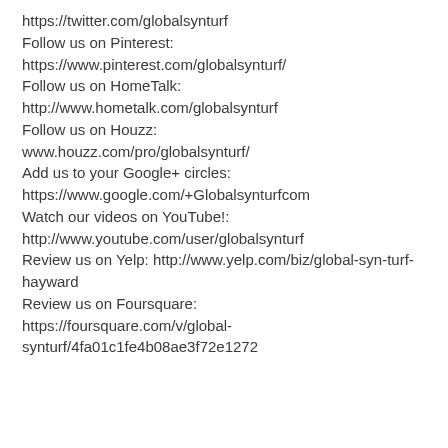https://twitter.com/globalsynturf
Follow us on Pinterest: https://www.pinterest.com/globalsynturf/
Follow us on HomeTalk: http://www.hometalk.com/globalsynturf
Follow us on Houzz: www.houzz.com/pro/globalsynturf/
Add us to your Google+ circles: https://www.google.com/+Globalsynturfcom
Watch our videos on YouTube!: http://www.youtube.com/user/globalsynturf
Review us on Yelp: http://www.yelp.com/biz/global-syn-turf-hayward
Review us on Foursquare: https://foursquare.com/v/global-synturf/4fa01c1fe4b08ae3f72e1272